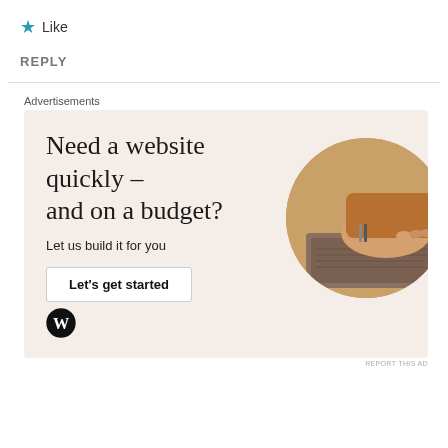★ Like
REPLY
Advertisements
[Figure (illustration): WordPress advertisement banner with beige/cream background. Large serif headline reads 'Need a website quickly – and on a budget?' with subtext 'Let us build it for you', a 'Let's get started' button, WordPress logo in bottom left, and a circular photo of hands typing on a laptop in the right side.]
REPORT THIS AD